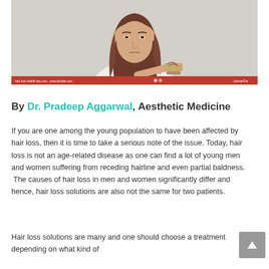[Figure (photo): Young woman with long brown hair holding a hairbrush and looking concerned, wearing a white top, against a light grey background. Red banner at the bottom with white text and 'bybnat©e' logo text.]
By Dr. Pradeep Aggarwal, Aesthetic Medicine
If you are one among the young population to have been affected by hair loss, then it is time to take a serious note of the issue. Today, hair loss is not an age-related disease as one can find a lot of young men and women suffering from receding hairline and even partial baldness.  The causes of hair loss in men and women significantly differ and hence, hair loss solutions are also not the same for two patients.
Hair loss solutions are many and one should choose a treatment depending on what kind of